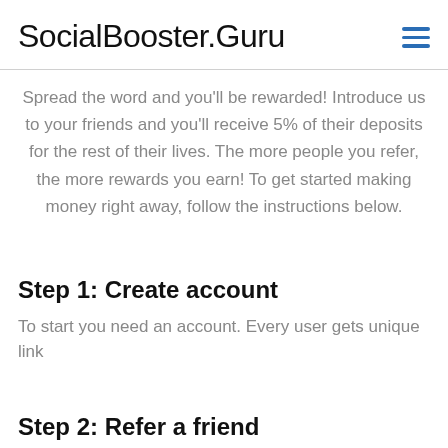SocialBooster.Guru
Spread the word and you'll be rewarded! Introduce us to your friends and you'll receive 5% of their deposits for the rest of their lives. The more people you refer, the more rewards you earn! To get started making money right away, follow the instructions below.
Step 1: Create account
To start you need an account. Every user gets unique link
Step 2: Refer a friend